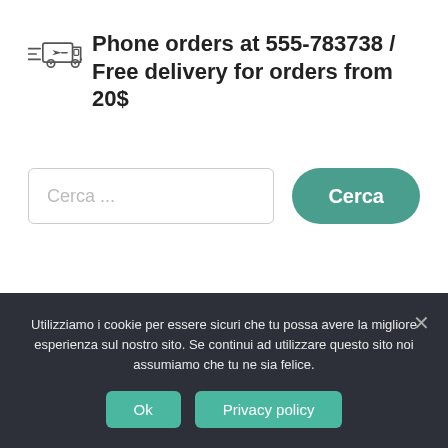Phone orders at 555-783738 / Free delivery for orders from 20$
[Figure (illustration): Delivery truck icon (outline style) with motion lines indicating speed]
Cerca ...
Cerca
Utilizziamo i cookie per essere sicuri che tu possa avere la migliore esperienza sul nostro sito. Se continui ad utilizzare questo sito noi assumiamo che tu ne sia felice.
Ok
Privacy policy